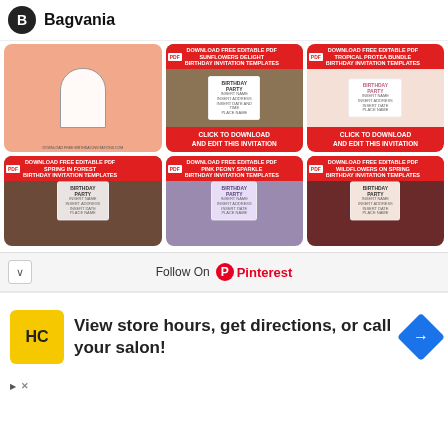Bagvania
[Figure (screenshot): Pinterest board grid showing birthday invitation templates from Bagvania. Top row: left=peach colored invitation with arch and flowers, center=Sunflowers Delight birthday invitation with photo, right=Tropical Protea Bundle birthday invitation. Bottom row: left=Spring in Forest birthday invitation, center=Pink Peony Sparkle birthday invitation, right=Wildflowers on Spring birthday invitation. Each has red banners with download/edit CTAs.]
Follow On Pinterest
[Figure (screenshot): Advertisement banner: HC logo (yellow background), text 'View store hours, get directions, or call your salon!', blue navigation arrow icon. Small triangle and X icons at bottom left.]